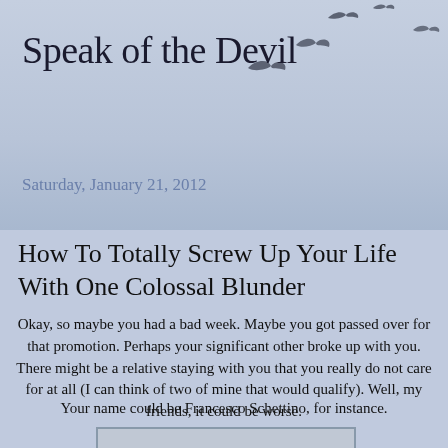Speak of the Devil
Saturday, January 21, 2012
How To Totally Screw Up Your Life With One Colossal Blunder
Okay, so maybe you had a bad week. Maybe you got passed over for that promotion. Perhaps your significant other broke up with you. There might be a relative staying with you that you really do not care for at all (I can think of two of mine that would qualify). Well, my friends, it could be worse.
Your name could be Francesco Schettino, for instance.
[Figure (photo): Partial view of a photograph at the bottom of the page, showing a grey sky with what appears to be a ship or vessel]